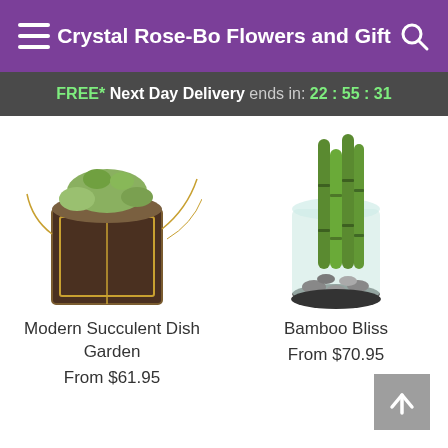Crystal Rose-Bo Flowers and Gift
FREE* Next Day Delivery ends in: 22:55:31
[Figure (photo): Modern Succulent Dish Garden - a succulent plant arrangement in a dark wooden box container with gold trim]
Modern Succulent Dish Garden
From $61.95
[Figure (photo): Bamboo Bliss - tall bamboo stalks in a clear glass vase with rocks]
Bamboo Bliss
From $70.95